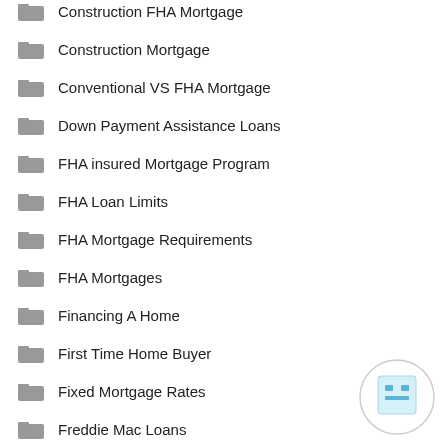Construction FHA Mortgage
Construction Mortgage
Conventional VS FHA Mortgage
Down Payment Assistance Loans
FHA insured Mortgage Program
FHA Loan Limits
FHA Mortgage Requirements
FHA Mortgages
Financing A Home
First Time Home Buyer
Fixed Mortgage Rates
Freddie Mac Loans
[Figure (illustration): Circular watermark/stamp with a small blue robot or icon inside]